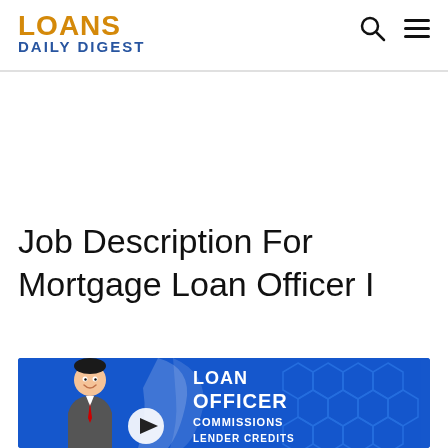LOANS DAILY DIGEST
Job Description For Mortgage Loan Officer I
[Figure (screenshot): Video thumbnail with blue background showing a cartoon loan officer, white paint splash, hexagon pattern, text reading LOAN OFFICER COMMISSIONS LENDER CREDITS, and a play button in the center.]